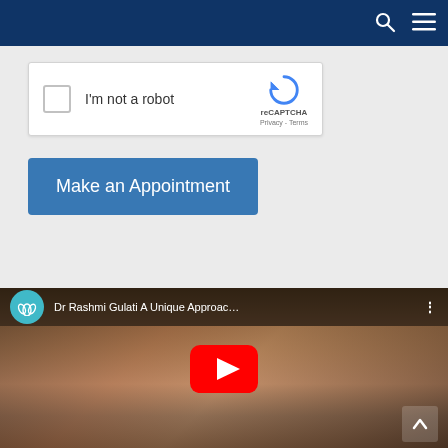Navigation bar with search and menu icons
[Figure (screenshot): reCAPTCHA widget with checkbox labeled 'I'm not a robot' and reCAPTCHA logo with Privacy - Terms links]
Make an Appointment
[Figure (screenshot): YouTube video embed showing Dr Rashmi Gulati A Unique Approac... with play button overlay and channel icon]